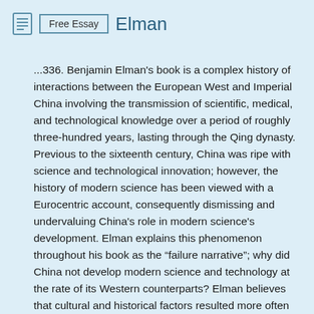Free Essay  Elman
...336. Benjamin Elman’s book is a complex history of interactions between the European West and Imperial China involving the transmission of scientific, medical, and technological knowledge over a period of roughly three-hundred years, lasting through the Qing dynasty. Previous to the sixteenth century, China was ripe with science and technological innovation; however, the history of modern science has been viewed with a Eurocentric account, consequently dismissing and undervaluing China’s role in modern science’s development. Elman explains this phenomenon throughout his book as the “failure narrative”; why did China not develop modern science and technology at the rate of its Western counterparts? Elman believes that cultural and historical factors resulted more often than not in an inconsistent and turbulent transmission of scientific, medical, and technological information from the West